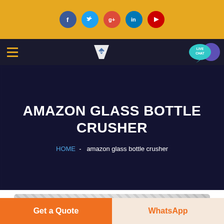[Figure (screenshot): Social media icons bar with Facebook, Twitter, Google+, LinkedIn, YouTube icons on golden/amber background]
[Figure (screenshot): Navigation bar with hamburger menu, SHM logo, and LIVE CHAT button on dark navy background]
AMAZON GLASS BOTTLE CRUSHER
HOME - amazon glass bottle crusher
[Figure (photo): Partial image of machinery/equipment at bottom]
Get a Quote
WhatsApp